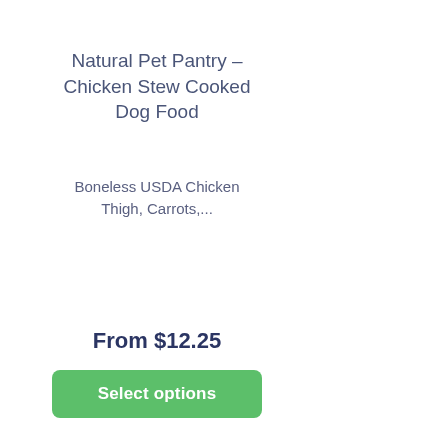Natural Pet Pantry – Chicken Stew Cooked Dog Food
Boneless USDA Chicken Thigh, Carrots,...
From $12.25
Select options